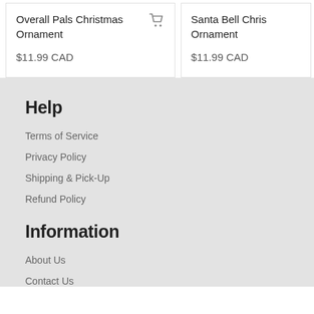Overall Pals Christmas Ornament
$11.99 CAD
Santa Bell Chris Ornament
$11.99 CAD
Help
Terms of Service
Privacy Policy
Shipping & Pick-Up
Refund Policy
Information
About Us
Contact Us